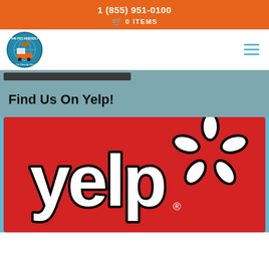1 (855) 951-0100
0 ITEMS
[Figure (logo): The Pet Friendly Plumber logo — circular logo with cartoon plumber and globe]
Find Us On Yelp!
[Figure (logo): Yelp logo — white 'yelp' text with burst/asterisk mark on red background]